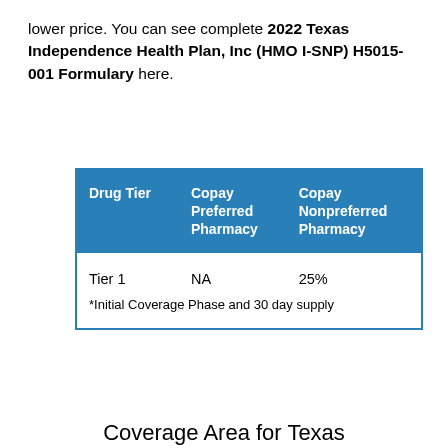lower price. You can see complete 2022 Texas Independence Health Plan, Inc (HMO I-SNP) H5015-001 Formulary here.
| Drug Tier | Copay Preferred Pharmacy | Copay Nonpreferred Pharmacy |
| --- | --- | --- |
| Tier 1 | NA | 25% |
| *Initial Coverage Phase and 30 day supply |  |  |
Coverage Area for Texas